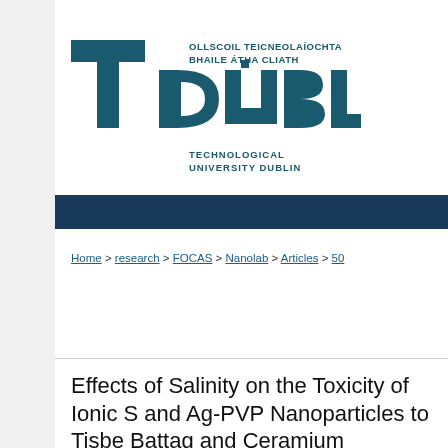[Figure (logo): Technological University Dublin logo with Irish text 'OLLSCOIL TEICNEOLAÍOCHTA BHAILE ÁTHA CLIATH' and 'TECHNOLOGICAL UNIVERSITY DUBLIN' wordmark with large stylized T and DUBLIN lettering in teal/navy color]
Home > research > FOCAS > Nanolab > Articles > 50
Effects of Salinity on the Toxicity of Ionic S and Ag-PVP Nanoparticles to Tisbe Battag and Ceramium Tenuicorne